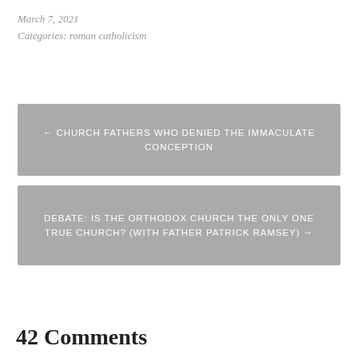March 7, 2021
Categories: roman catholicism
← CHURCH FATHERS WHO DENIED THE IMMACULATE CONCEPTION
DEBATE: IS THE ORTHODOX CHURCH THE ONLY ONE TRUE CHURCH? (WITH FATHER PATRICK RAMSEY) →
42 Comments